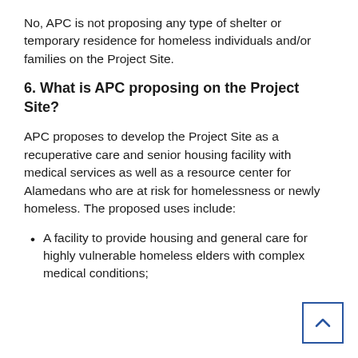No, APC is not proposing any type of shelter or temporary residence for homeless individuals and/or families on the Project Site.
6. What is APC proposing on the Project Site?
APC proposes to develop the Project Site as a recuperative care and senior housing facility with medical services as well as a resource center for Alamedans who are at risk for homelessness or newly homeless. The proposed uses include:
A facility to provide housing and general care for highly vulnerable homeless elders with complex medical conditions;